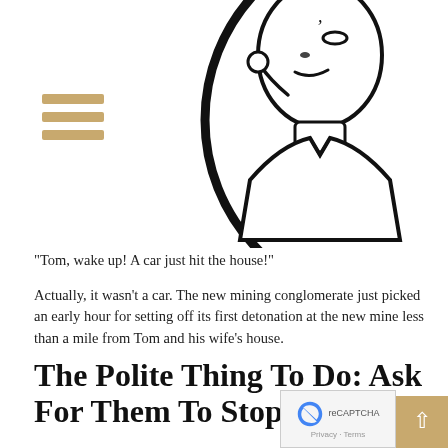[Figure (illustration): Cartoon illustration of a man looking upward inside a circle, with a hamburger menu icon (three tan horizontal bars) on the left side]
“Tom, wake up! A car just hit the house!”
Actually, it wasn’t a car. The new mining conglomerate just picked an early hour for setting off its first detonation at the new mine less than a mile from Tom and his wife’s house.
The Polite Thing To Do: Ask For Them To Stop
What can Tom and his wife do? Their first move is probably going to be picking up the phone with the mining conglomerate and asking for an accommodation (e.g. s… charges, more-reasonable hours, etc.) to lessen the imp… the mining on the enjoyment of their home.